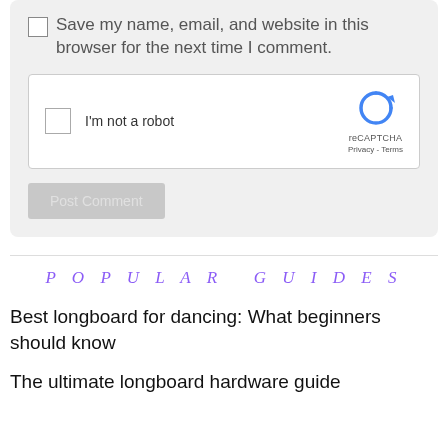Save my name, email, and website in this browser for the next time I comment.
[Figure (screenshot): reCAPTCHA widget with checkbox, 'I'm not a robot' label, reCAPTCHA logo, and Privacy - Terms links]
Post Comment
POPULAR GUIDES
Best longboard for dancing: What beginners should know
The ultimate longboard hardware guide